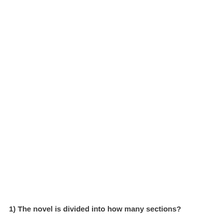1) The novel is divided into how many sections?